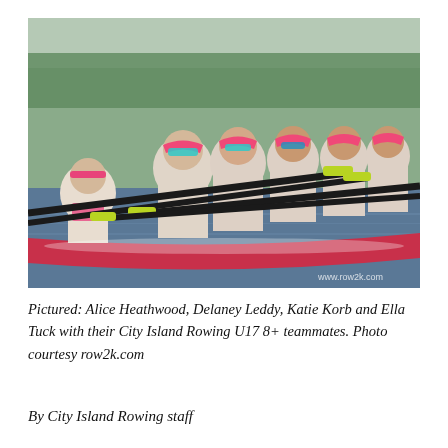[Figure (photo): A rowing crew of young women in pink visors and navy/white uniforms rowing a red shell on a lake. They are mid-stroke, holding yellow-tipped oars. The photo is watermarked www.row2k.com.]
Pictured: Alice Heathwood, Delaney Leddy, Katie Korb and Ella Tuck with their City Island Rowing U17 8+ teammates. Photo courtesy row2k.com
By City Island Rowing staff